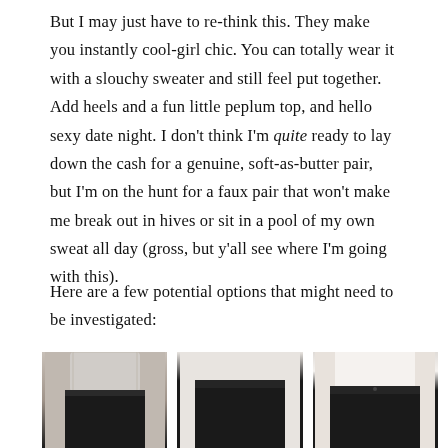But I may just have to re-think this. They make you instantly cool-girl chic. You can totally wear it with a slouchy sweater and still feel put together. Add heels and a fun little peplum top, and hello sexy date night. I don't think I'm quite ready to lay down the cash for a genuine, soft-as-butter pair, but I'm on the hunt for a faux pair that won't make me break out in hives or sit in a pool of my own sweat all day (gross, but y'all see where I'm going with this).
Here are a few potential options that might need to be investigated:
[Figure (photo): Three product photos of women wearing black faux leather leggings/pants, cropped to show torso and legs]